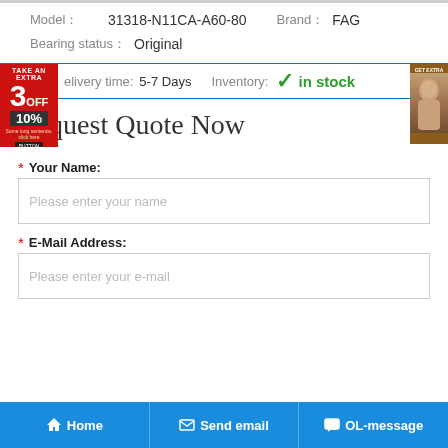Model: 31318-N11CA-A60-80   Brand: FAG
Bearing status: Original
Delivery time: 5-7 Days   Inventory: ✓ in stock
Request Quote Now
* Your Name:
Please enter your name
* E-Mail Address:
Please enter your e-mail
Home   Send email   OL-message